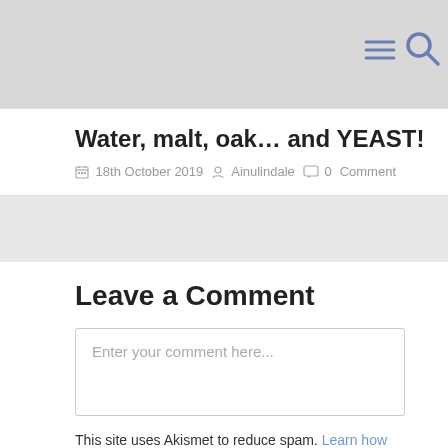[Figure (screenshot): Top navigation bar with hamburger menu icon and search icon on light gray background]
Water, malt, oak… and YEAST!
18th October 2019  Ainulindale  0 Comment
Leave a Comment
Enter your comment here...
This site uses Akismet to reduce spam. Learn how your comment data is processed.